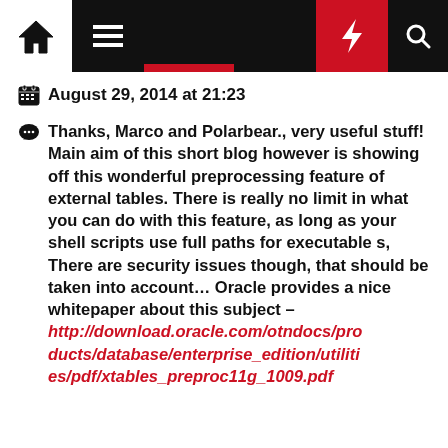Navigation bar with home, menu, bolt, and search icons
August 29, 2014 at 21:23
Thanks, Marco and Polarbear., very useful stuff! Main aim of this short blog however is showing off this wonderful preprocessing feature of external tables. There is really no limit in what you can do with this feature, as long as your shell scripts use full paths for executable s, There are security issues though, that should be taken into account… Oracle provides a nice whitepaper about this subject – http://download.oracle.com/otndocs/products/database/enterprise_edition/utilities/pdf/xtables_preproc11g_1009.pdf